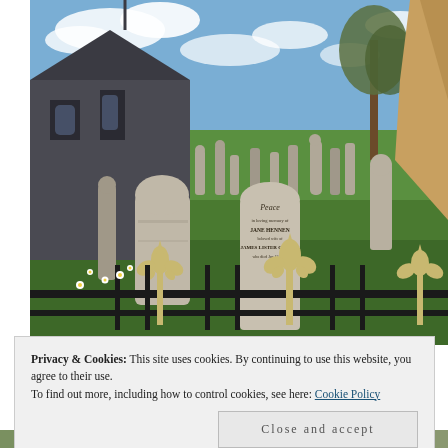[Figure (photo): Photograph of a churchyard cemetery with old stone gravestones on green grass. A grey stone church building is visible in the background left, with a bare tree to the right. In the foreground are ornate gold fleur-de-lis metal fence finials. A prominent central gravestone reads 'Peace' at the top. Blue sky with clouds overhead. Sandy/rocky structure on right edge.]
Privacy & Cookies: This site uses cookies. By continuing to use this website, you agree to their use.
To find out more, including how to control cookies, see here: Cookie Policy
Close and accept
[Figure (photo): Partial view of another photograph at the bottom of the page, mostly cut off.]